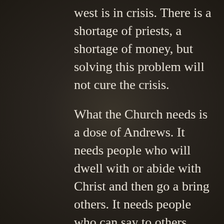west is in crisis. There is a shortage of priests, a shortage of money, but solving this problem will not cure the crisis.

What the Church needs is a dose of Andrews. It needs people who will dwell with or abide with Christ and then go a bring others. It needs people who can say to others ‘come and see.’ See my life transformed, see my church and the people in it transformed, come and see Jesus. The church is not short of people and it could grow to astronomical proportions if it did what Andrew did. The world-wide church grew from 12 disciples who were with